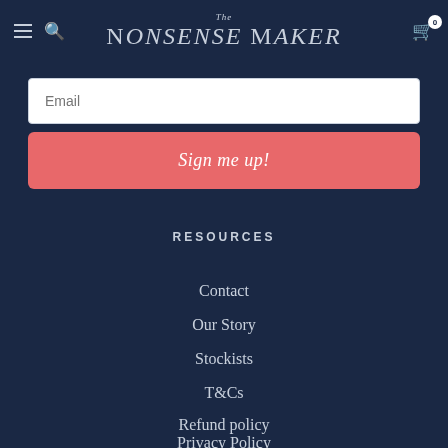The Nonsense Maker
Email
Sign me up!
RESOURCES
Contact
Our Story
Stockists
T&Cs
Refund policy
Privacy Policy